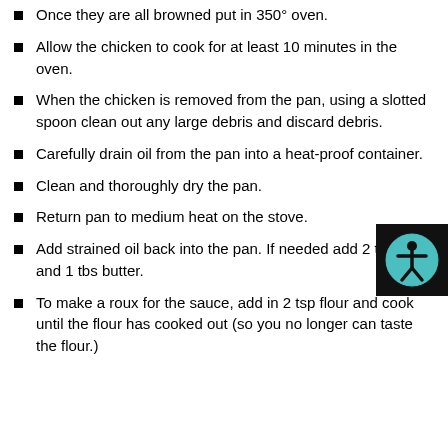Once they are all browned put in 350° oven.
Allow the chicken to cook for at least 10 minutes in the oven.
When the chicken is removed from the pan, using a slotted spoon clean out any large debris and discard debris.
Carefully drain oil from the pan into a heat-proof container.
Clean and thoroughly dry the pan.
Return pan to medium heat on the stove.
Add strained oil back into the pan. If needed add 2 tsp oil and 1 tbs butter.
To make a roux for the sauce, add in 2 tsp flour and cook until the flour has cooked out (so you no longer can taste the flour.)
[Figure (other): Accessibility widget button — teal circle with person icon on black background, positioned at top-right corner of the page]